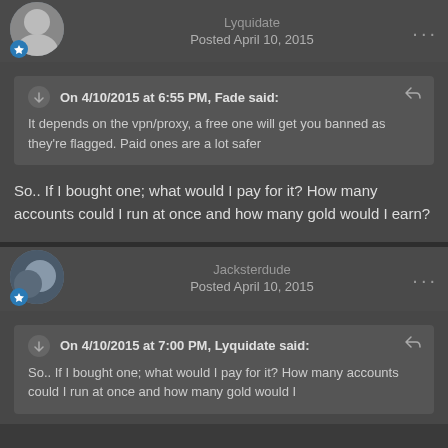Lyquidate
Posted April 10, 2015
On 4/10/2015 at 6:55 PM, Fade said:
It depends on the vpn/proxy, a free one will get you banned as they're flagged. Paid ones are a lot safer
So.. If I bought one; what would I pay for it? How many accounts could I run at once and how many gold would I earn?
Jacksterdude
Posted April 10, 2015
On 4/10/2015 at 7:00 PM, Lyquidate said:
So.. If I bought one; what would I pay for it? How many accounts could I run at once and how many gold would I